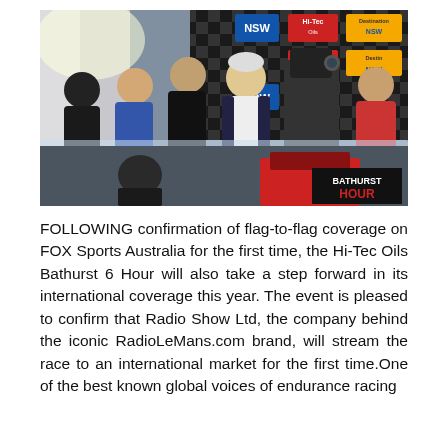[Figure (photo): A group of people at the Bathurst 6 Hour event podium area, with a racing driver in a white suit celebrating, a camera crew filming, and sponsor logos (NSW, Hi-Tec Oils, Destination NSW) on a backdrop. Bathurst Hour logo visible in bottom right corner.]
FOLLOWING confirmation of flag-to-flag coverage on FOX Sports Australia for the first time, the Hi-Tec Oils Bathurst 6 Hour will also take a step forward in its international coverage this year. The event is pleased to confirm that Radio Show Ltd, the company behind the iconic RadioLeMans.com brand, will stream the race to an international market for the first time.One of the best known global voices of endurance racing...